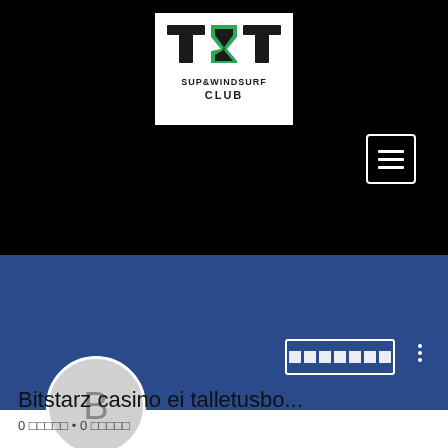[Figure (logo): T&T SUP & Windsurf Club logo — stylized letters T and T in green and black with 'SUP & WINDSURF CLUB' text below, on white background inside black header]
[Figure (screenshot): Hamburger menu button icon (three horizontal white bars) in white-bordered rounded rectangle on black background]
[Figure (screenshot): Blue profile banner with follow button (rectangle with white border containing black squares) and three-dot menu on right]
[Figure (screenshot): Circular user avatar with letter B in gray on light gray background]
Bitstarz casino ei talletusbo...
0 □□□□□ • 0 □□□□□